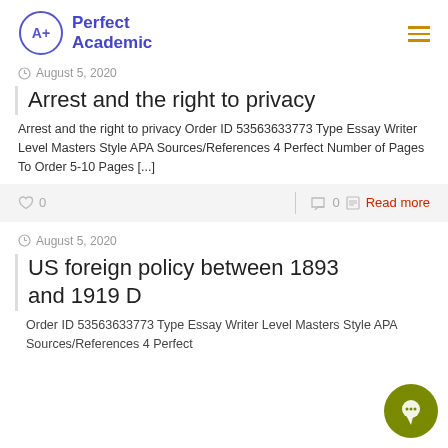[Figure (logo): Perfect Academic logo with A+ circle and text]
August 5, 2020
Arrest and the right to privacy
Arrest and the right to privacy Order ID 53563633773 Type Essay Writer Level Masters Style APA Sources/References 4 Perfect Number of Pages To Order 5-10 Pages [...]
0  |  0  Read more
August 5, 2020
US foreign policy between 1893 and 1919 D
Order ID 53563633773 Type Essay Writer Level Masters Style APA Sources/References 4 Perfect